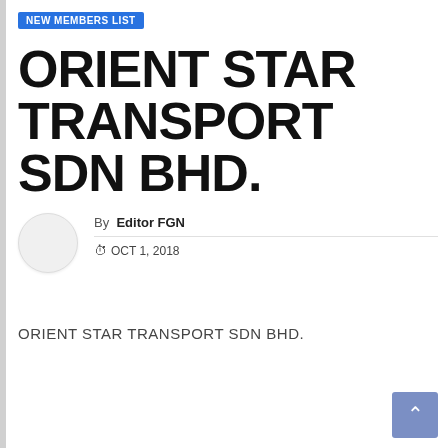NEW MEMBERS LIST
ORIENT STAR TRANSPORT SDN BHD.
By Editor FGN
OCT 1, 2018
ORIENT STAR TRANSPORT SDN BHD.